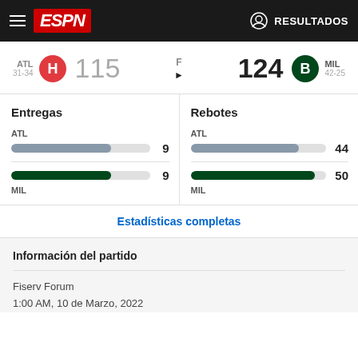ESPN — RESULTADOS
ATL 31-34  115  F  124  MIL 42-25
Entregas
ATL 9
MIL 9
Rebotes
ATL 44
MIL 50
Estadísticas completas
Información del partido
Fiserv Forum
1:00 AM, 10 de Marzo, 2022